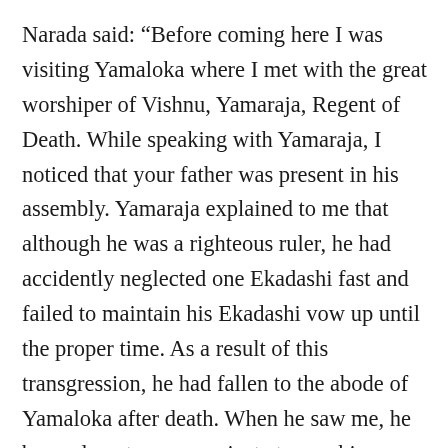Narada said: “Before coming here I was visiting Yamaloka where I met with the great worshiper of Vishnu, Yamaraja, Regent of Death. While speaking with Yamaraja, I noticed that your father was present in his assembly. Yamaraja explained to me that although he was a righteous ruler, he had accidently neglected one Ekadashi fast and failed to maintain his Ekadashi vow up until the proper time. As a result of this transgression, he had fallen to the abode of Yamaloka after death. When he saw me, he begged me to communicate to you his current status and also request you to observe the upcoming Indira Ekadashi fast on his behalf. If you do this, your father will be relieved of his sin and will be able to ascend directly to the spiritual